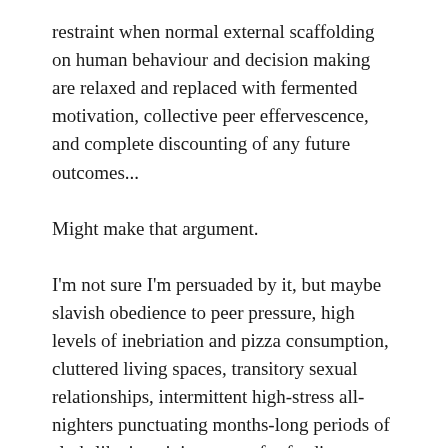restraint when normal external scaffolding on human behaviour and decision making are relaxed and replaced with fermented motivation, collective peer effervescence, and complete discounting of any future outcomes...
Might make that argument.
I'm not sure I'm persuaded by it, but maybe slavish obedience to peer pressure, high levels of inebriation and pizza consumption, cluttered living spaces, transitory sexual relationships, intermittent high-stress all-nighters punctuating months-long periods of sloth-like inactivity except for feeding, drinking and playing video games – maybe this is in fact what humans choose to do when divested of all responsibility for themselves with virtually no immediate pressures except for